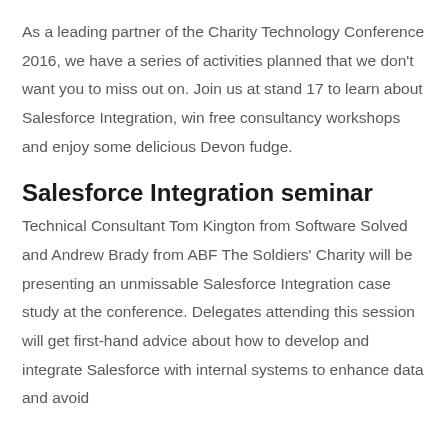As a leading partner of the Charity Technology Conference 2016, we have a series of activities planned that we don't want you to miss out on. Join us at stand 17 to learn about Salesforce Integration, win free consultancy workshops and enjoy some delicious Devon fudge.
Salesforce Integration seminar
Technical Consultant Tom Kington from Software Solved and Andrew Brady from ABF The Soldiers' Charity will be presenting an unmissable Salesforce Integration case study at the conference. Delegates attending this session will get first-hand advice about how to develop and integrate Salesforce with internal systems to enhance data and avoid